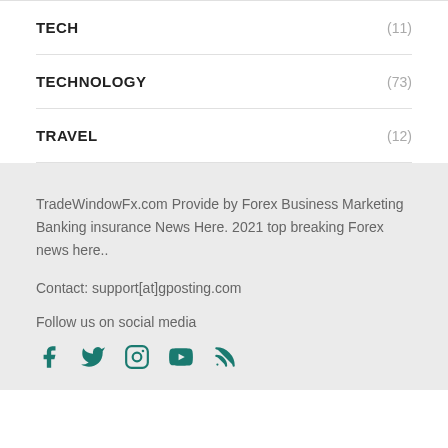TECH (11)
TECHNOLOGY (73)
TRAVEL (12)
TradeWindowFx.com Provide by Forex Business Marketing Banking insurance News Here. 2021 top breaking Forex news here..
Contact: support[at]gposting.com
Follow us on social media
[Figure (infographic): Social media icons: Facebook, Twitter, Instagram, YouTube, RSS feed — in teal/dark green color]